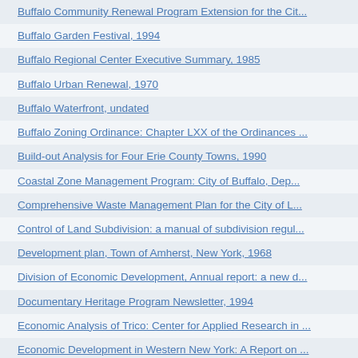Buffalo Community Renewal Program Extension for the Cit...
Buffalo Garden Festival, 1994
Buffalo Regional Center Executive Summary, 1985
Buffalo Urban Renewal, 1970
Buffalo Waterfront, undated
Buffalo Zoning Ordinance: Chapter LXX of the Ordinances ...
Build-out Analysis for Four Erie County Towns, 1990
Coastal Zone Management Program: City of Buffalo, Dep...
Comprehensive Waste Management Plan for the City of L...
Control of Land Subdivision: a manual of subdivision regul...
Development plan, Town of Amherst, New York, 1968
Division of Economic Development, Annual report: a new d...
Documentary Heritage Program Newsletter, 1994
Economic Analysis of Trico: Center for Applied Research in ...
Economic Development in Western New York: A Report on ...